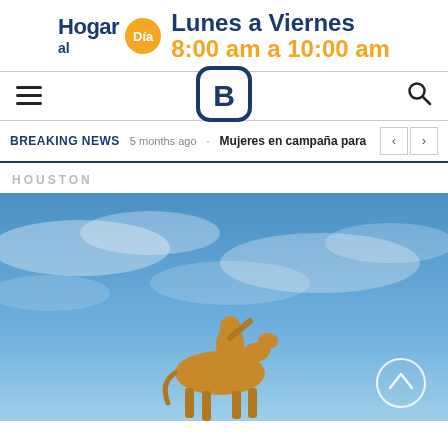[Figure (logo): Hogar al Día logo with orange circle and Lunes a Viernes 8:00 am a 10:00 am schedule banner]
[Figure (logo): Letter B logo in blue rounded square outline, navigation bar with hamburger menu and search icon]
BREAKING NEWS   5 months ago · Mujeres en campaña para
HOUSTON
[Figure (photo): Golden equestrian statue against a blue sky with white clouds, Houston]